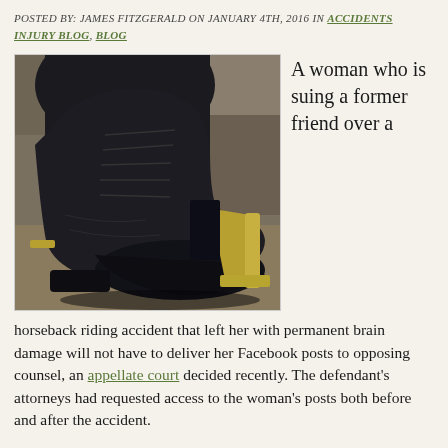POSTED BY: JAMES FITZGERALD ON JANUARY 4TH, 2016 IN ACCIDENTS INJURY BLOG, BLOG
[Figure (photo): Close-up photo of a black equestrian boot in a stirrup, viewed from the side, against a stone/wall background.]
A woman who is suing a former friend over a
horseback riding accident that left her with permanent brain damage will not have to deliver her Facebook posts to opposing counsel, an appellate court decided recently.  The defendant's attorneys had requested access to the woman's posts both before and after the accident.